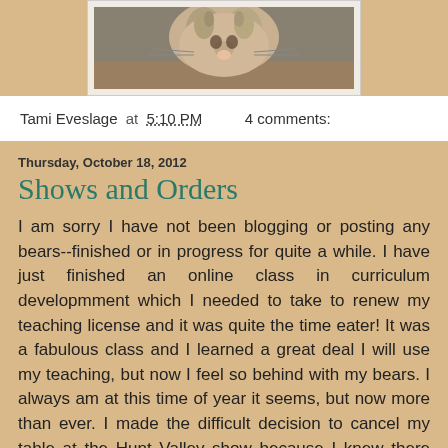[Figure (photo): Partial photo of a cat/animal, bottom portion visible, framed in white/cream border]
Tami Eveslage at 5:10 PM   4 comments:
Thursday, October 18, 2012
Shows and Orders
I am sorry I have not been blogging or posting any bears--finished or in progress for quite a while. I have just finished an online class in curriculum developmment which I needed to take to renew my teaching license and it was quite the time eater! It was a fabulous class and I learned a great deal I will use my teaching, but now I feel so behind with my bears. I always am at this time of year it seems, but now more than ever. I made the difficult decision to cancel my table at the Hunt Valley show because I knew there was no way I could fill a table. I will miss seeing the lovely collectors